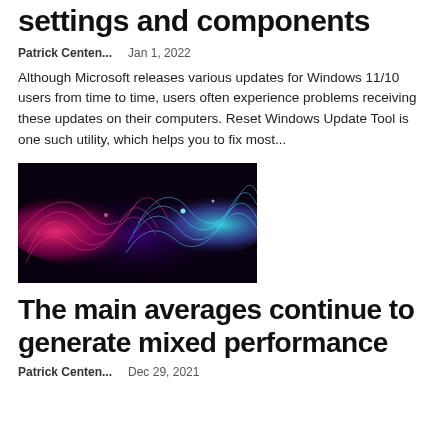settings and components
Patrick Centen...    Jan 1, 2022
Although Microsoft releases various updates for Windows 11/10 users from time to time, users often experience problems receiving these updates on their computers. Reset Windows Update Tool is one such utility, which helps you to fix most...
[Figure (photo): Abstract digital visualization with pink and blue glowing wave-form shapes on a dark background, resembling data streams or sound waves.]
The main averages continue to generate mixed performance
Patrick Centen...    Dec 29, 2021